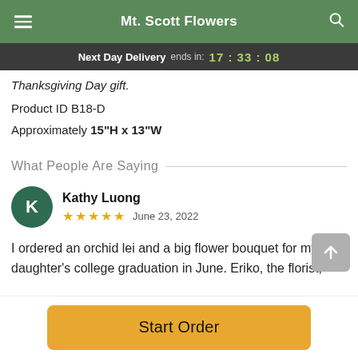Mt. Scott Flowers
Next Day Delivery ends in: 17:33:08
Thanksgiving Day gift.
Product ID B18-D
Approximately 15"H x 13"W
What People Are Saying
Kathy Luong
★★★★★  June 23, 2022
I ordered an orchid lei and a big flower bouquet for my daughter's college graduation in June. Eriko, the florist,
Start Order